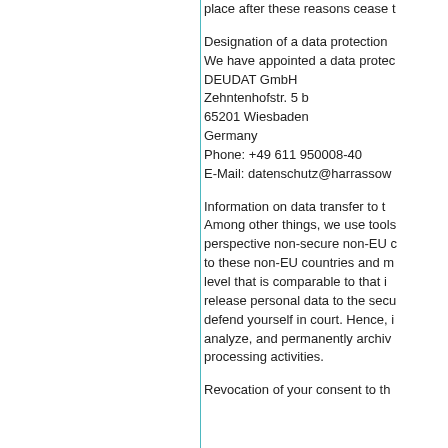place after these reasons cease t…
Designation of a data protection…
We have appointed a data protec…
DEUDAT GmbH
Zehntenhofstr. 5 b
65201 Wiesbaden
Germany
Phone: +49 611 950008-40
E-Mail: datenschutz@harrassow…
Information on data transfer to t…
Among other things, we use tools…
perspective non-secure non-EU c…
to these non-EU countries and m…
level that is comparable to that i…
release personal data to the secu…
defend yourself in court. Hence, i…
analyze, and permanently archiv…
processing activities.
Revocation of your consent to th…